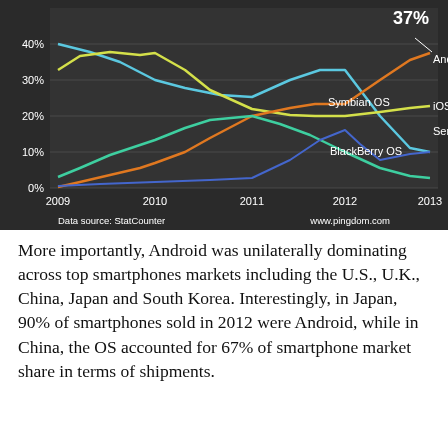[Figure (line-chart): Smartphone OS market share 2009-2013]
More importantly, Android was unilaterally dominating across top smartphones markets including the U.S., U.K., China, Japan and South Korea. Interestingly, in Japan, 90% of smartphones sold in 2012 were Android, while in China, the OS accounted for 67% of smartphone market share in terms of shipments.